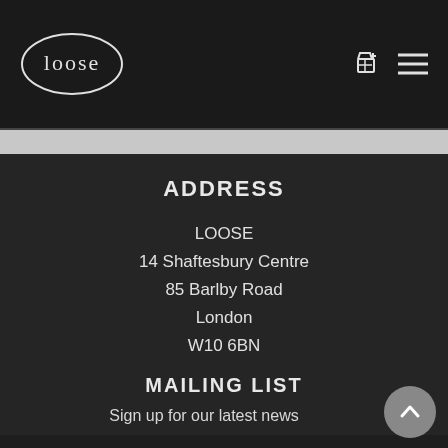LOOSE — navigation header with logo, cart icon, and menu icon
ADDRESS
LOOSE
14 Shaftesbury Centre
85 Barlby Road
London
W10 6BN
UK
MAILING LIST
Sign up for our latest news